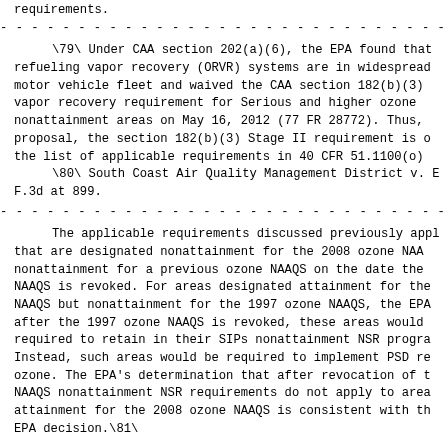requirements.
\79\ Under CAA section 202(a)(6), the EPA found that refueling vapor recovery (ORVR) systems are in widespread motor vehicle fleet and waived the CAA section 182(b)(3) vapor recovery requirement for Serious and higher ozone nonattainment areas on May 16, 2012 (77 FR 28772). Thus, proposal, the section 182(b)(3) Stage II requirement is o the list of applicable requirements in 40 CFR 51.1100(o) \80\ South Coast Air Quality Management District v. E F.3d at 899.
The applicable requirements discussed previously appl that are designated nonattainment for the 2008 ozone NAA nonattainment for a previous ozone NAAQS on the date the NAAQS is revoked. For areas designated attainment for the NAAQS but nonattainment for the 1997 ozone NAAQS, the EPA after the 1997 ozone NAAQS is revoked, these areas would required to retain in their SIPs nonattainment NSR progra Instead, such areas would be required to implement PSD r ozone. The EPA's determination that after revocation of  NAAQS nonattainment NSR requirements do not apply to are attainment for the 2008 ozone NAAQS is consistent with t EPA decision.\81\
\81\ Greenbaum v. EPA, 370 F.3d 527, 536 (6th Cir. 20 would make little sense for [nonattainment NSR] to be in